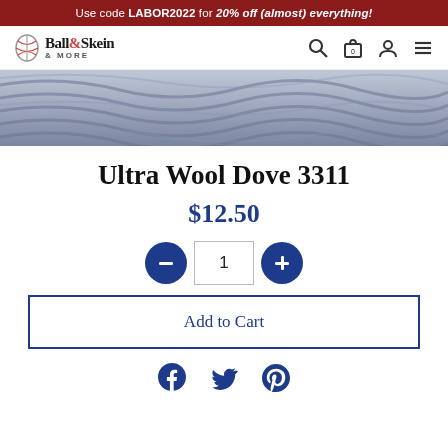Use code LABOR2022 for 20% off (almost) everything!
[Figure (logo): Ball & Skein & More logo with yarn ball icon]
[Figure (photo): Close-up photo of blue-grey twisted yarn (Ultra Wool Dove 3311)]
Ultra Wool Dove 3311
$12.50
[Figure (other): Quantity selector with minus button, input field showing 1, and plus button]
Add to Cart
[Figure (other): Social share icons: Facebook, Twitter, Pinterest]